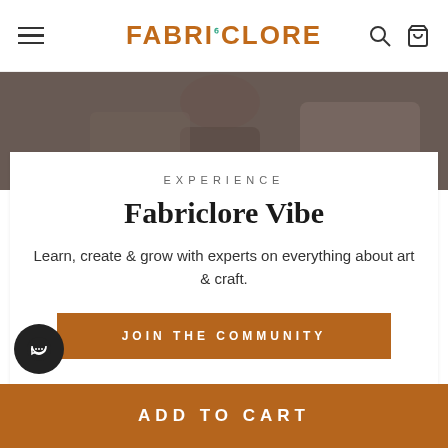FABRICLORE
[Figure (photo): Person working on a crafting or sewing project, partially visible, background blurred]
EXPERIENCE
Fabriclore Vibe
Learn, create & grow with experts on everything about art & craft.
JOIN THE COMMUNITY
ADD TO CART